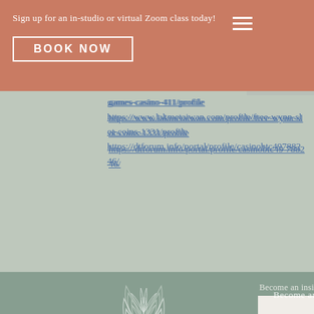Sign up for an in-studio or virtual Zoom class today!
BOOK NOW
https://www.lakmetaiwan.com/profile/free-wynn-slot-coins-1331/profile
https://dtforum.info/portal/profile/casinobtc49788246/
[Figure (logo): Decorative lotus/flower logo in light sage green]
Become an insider!
SUBSCRIBE
FOLLOW
[Figure (infographic): Social media icons: Facebook, Instagram, Yelp]
GET IN TOUCH
512. 630. 0440
info@themotecrystudio.com
TERMS OF SERVICE
OUR STUDIO
104 Country Rd
Suite 103
Georgetown , Texas
78628
PRIVACY POLICY